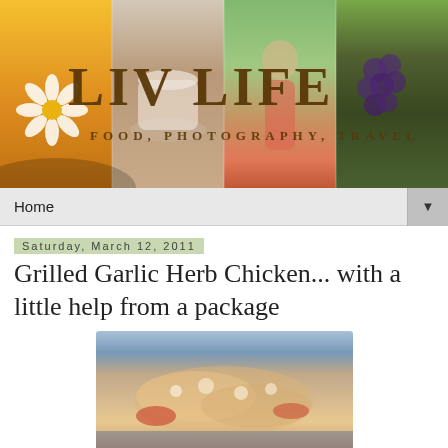[Figure (photo): LIV LIFE blog header banner with four panels: golden sunset with daisy flower, white tea cups on saucer, woman in pink dress reaching up outdoors, purple grapes on vine. Text overlay reads 'LIV LIFE' and 'FOOD, PHOTOGRAPHY, TRAVEL']
Home ▼
Saturday, March 12, 2011
Grilled Garlic Herb Chicken... with a little help from a package
[Figure (photo): Close-up photo of grilled garlic herb chicken with melted cheese and herbs on top, served with red sauce or peppers, on a blue plate or surface]